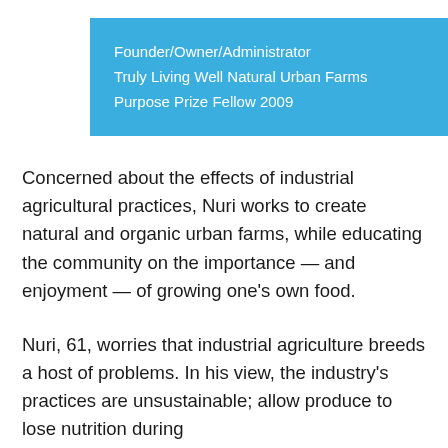Founder/Owner/Administrator
Truly Living Well Natural Urban Farms
Purpose Prize Fellow 2009
Concerned about the effects of industrial agricultural practices, Nuri works to create natural and organic urban farms, while educating the community on the importance — and enjoyment — of growing one's own food.
Nuri, 61, worries that industrial agriculture breeds a host of problems. In his view, the industry's practices are unsustainable; allow produce to lose nutrition during